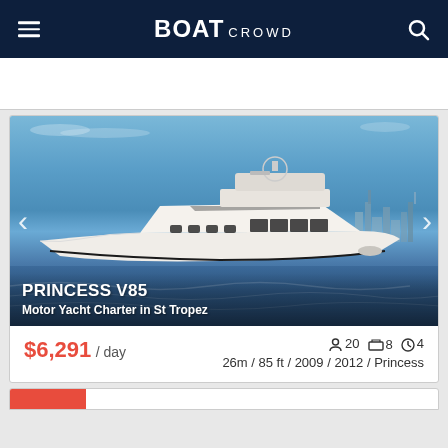BOAT CROWD
[Figure (photo): Large motor yacht (Princess V85) photographed from the side on open water with city skyline in background and blue sky. White luxury yacht with flybridge.]
PRINCESS V85
Motor Yacht Charter in St Tropez
$6,291 / day
20  8  4  26m / 85 ft / 2009 / 2012 / Princess